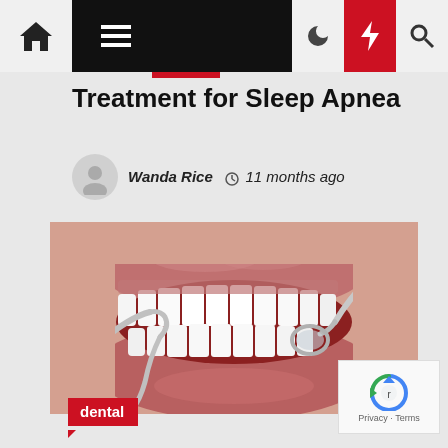Navigation bar with home, menu, dark mode, flash, and search icons
Treatment for Sleep Apnea
Wanda Rice  11 months ago
[Figure (photo): Close-up photo of a smiling person with white teeth and dental examination tools (mirror and hook/scaler) positioned near the mouth]
dental
Privacy · Terms